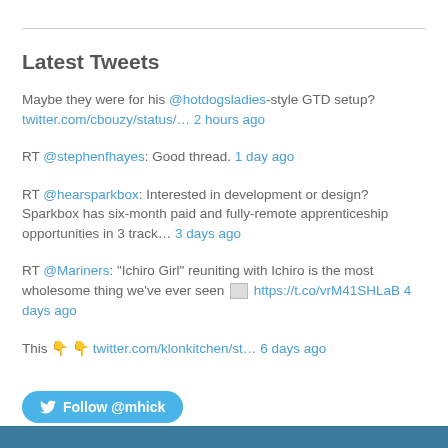Latest Tweets
Maybe they were for his @hotdogsladies-style GTD setup? twitter.com/cbouzy/status/… 2 hours ago
RT @stephenfhayes: Good thread. 1 day ago
RT @hearsparkbox: Interested in development or design? Sparkbox has six-month paid and fully-remote apprenticeship opportunities in 3 track… 3 days ago
RT @Mariners: "Ichiro Girl" reuniting with Ichiro is the most wholesome thing we've ever seen 🖼 https://t.co/vrM41SHLaB 4 days ago
This 👇 👇 twitter.com/klonkitchen/st… 6 days ago
Follow @mhick